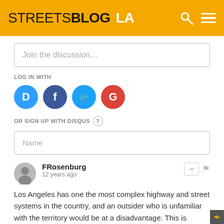STREETSBLOG LA
Join the discussion…
LOG IN WITH
[Figure (other): Social login icons: Disqus (blue), Facebook (dark blue), Twitter (light blue), Google (red)]
OR SIGN UP WITH DISQUS ?
Name
FRosenburg
12 years ago
Los Angeles has one the most complex highway and street systems in the country, and an outsider who is unfamiliar with the territory would be at a disadvantage. This is perhaps why the past few GM's haven't made much progress. Fisher and Sedadi seem like much better options at this point. I